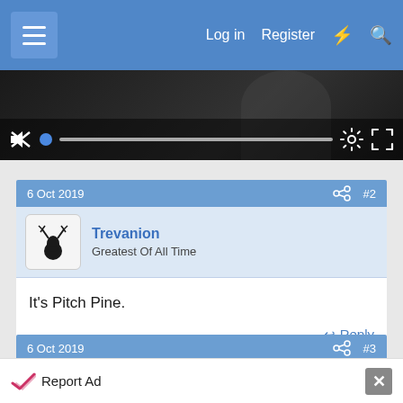Log in  Register
[Figure (screenshot): Video player controls bar with mute icon, blue progress dot, progress bar, gear/settings icon, and fullscreen icon on dark background]
6 Oct 2019   #2
Trevanion
Greatest Of All Time
It's Pitch Pine.
Reply
6 Oct 2019   #3
Peri
Report Ad